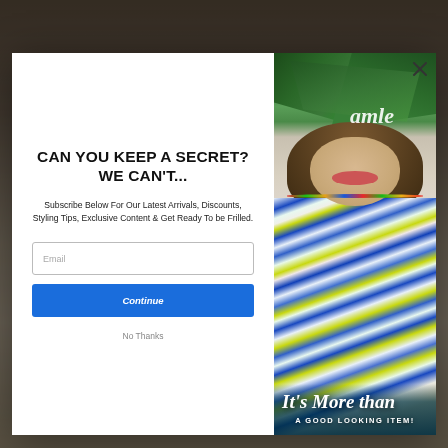[Figure (screenshot): Background fashion e-commerce website showing models in clothing, dimmed behind a modal popup]
[Figure (photo): Modal popup with two panels: left white panel with email subscription form, right panel showing a woman in a colorful blue and yellow lemon-print dress with tropical/script branding overlay]
CAN YOU KEEP A SECRET? WE CAN'T...
Subscribe Below For Our Latest Arrivals, Discounts, Styling Tips, Exclusive Content & Get Ready To be Frilled.
Email
Continue
No Thanks
It's More than
A GOOD LOOKING ITEM!